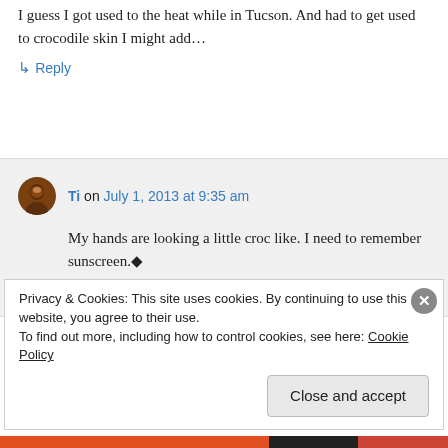I guess I got used to the heat while in Tucson. And had to get used to crocodile skin I might add…
↳ Reply
Ti on July 1, 2013 at 9:35 am
My hands are looking a little croc like. I need to remember sunscreen.◆
↳ Reply
Privacy & Cookies: This site uses cookies. By continuing to use this website, you agree to their use.
To find out more, including how to control cookies, see here: Cookie Policy
Close and accept